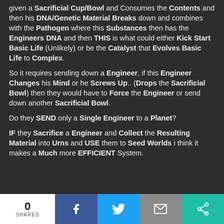given a Sacrificial Cup/Bowl and Consumes the Contents and then his DNA/Genetic Material Breaks down and combines with the Pathogen where this Substances then has the Engineers DNA and then THIS is what could either Kick Start Basic Life (Unlikely) or be the Catalyst that Evolves Basic Life to Complex.
So it requires sending down a Engineer, if this Engineer Changes his Mind or he Screws Up.. (Drops the Sacrificial Bowl) then they would have to Force the Engineer or send down another Sacrificial Bowl.
Do they SEND only a Single Engineer to a Planet?
IF they Sacrifice a Engineer and Collect the Resulting Material into Urns and USE them to Seed Worlds i think it makes a Much more EFFICIENT System.
0 SHARES | Share on Facebook | Share on Twitter | Email | Share